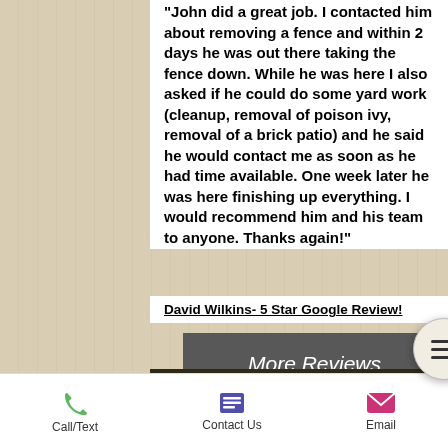"John did a great job. I contacted him about removing a fence and within 2 days he was out there taking the fence down. While he was here I also asked if he could do some yard work (cleanup, removal of poison ivy, removal of a brick patio) and he said he would contact me as soon as he had time available. One week later he was here finishing up everything. I would recommend him and his team to anyone. Thanks again!"
David Wilkins- 5 Star Google Review!
[Figure (screenshot): Button labeled 'More Reviews' on a dark gray background]
[Figure (screenshot): Hamburger menu icon (three horizontal bars) in a circular button]
[Figure (screenshot): Button labeled 'About Us' on a dark gray background]
Service Areas
[Figure (screenshot): Bottom navigation bar with Call/Text (green phone icon), Contact Us (purple list icon), and Email (pink envelope icon)]